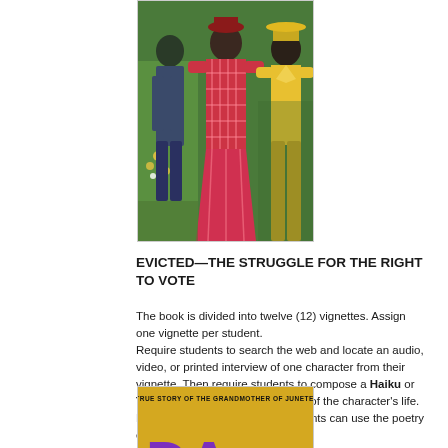[Figure (illustration): Colorful painting showing figures in bright clothing — one in a red and pink plaid outfit, one in a yellow jacket, and another in blue/green, with flowers in the background. Appears to be folk or community art style.]
EVICTED—THE STRUGGLE FOR THE RIGHT TO VOTE
The book is divided into twelve (12) vignettes. Assign one vignette per student. Require students to search the web and locate an audio, video, or printed interview of one character from their vignette. Then require students to compose a Haiku or Tanka poem that makes meaning of the character's life. For this activity, teachers and parents can use the poetry examples posted here.
[Figure (illustration): Book cover with yellow background reading 'THE TRUE STORY OF THE GRANDMOTHER OF JUNETEENTH' with large purple letter text below.]